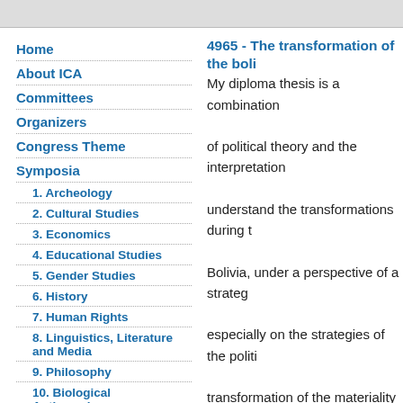Home
About ICA
Committees
Organizers
Congress Theme
Symposia
1. Archeology
2. Cultural Studies
3. Economics
4. Educational Studies
5. Gender Studies
6. History
7. Human Rights
8. Linguistics, Literature and Media
9. Philosophy
10. Biological Anthropology
11. Politics and State Transformation
12. Postcolonial Studies
4965 - The transformation of the boli
My diploma thesis is a combination of political theory and the interpretation understand the transformations during t Bolivia, under a perspective of a strateg especially on the strategies of the politi transformation of the materiality of the s focus of the thesis concentrates on the reasons for the formation of the MAS a success in forming a common interest. call the MAS a hegemonic project and how the strategic selectivity of the state has changed. Main hypothe functioning social fix installed in the Bolivian society in the ti